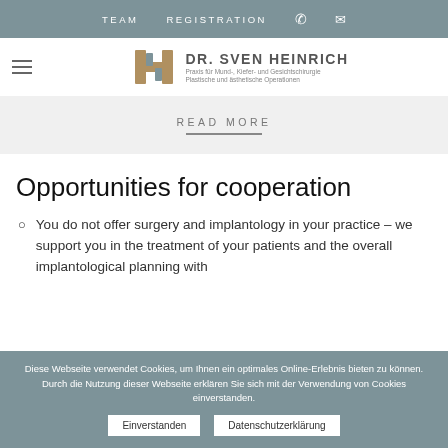TEAM   REGISTRATION
[Figure (logo): Dr. Sven Heinrich logo with stylized H icon and subtitle: Praxis für Mund-, Kiefer- und Gesichtschirurgie, Plastische und ästhetische Operationen]
READ MORE
Opportunities for cooperation
You do not offer surgery and implantology in your practice – we support you in the treatment of your patients and the overall implantological planning with
Diese Webseite verwendet Cookies, um Ihnen ein optimales Online-Erlebnis bieten zu können. Durch die Nutzung dieser Webseite erklären Sie sich mit der Verwendung von Cookies einverstanden.
Einverstanden   Datenschutzerklärung